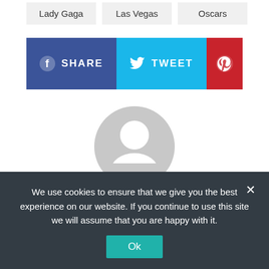Lady Gaga
Las Vegas
Oscars
[Figure (other): Social share buttons: SHARE (Facebook, blue), TWEET (Twitter, cyan), Pinterest (red)]
[Figure (illustration): Generic grey user avatar/profile placeholder icon]
WPGM Staff
We use cookies to ensure that we give you the best experience on our website. If you continue to use this site we will assume that you are happy with it.